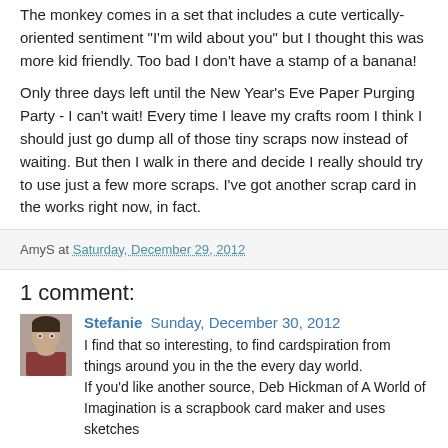The monkey comes in a set that includes a cute vertically-oriented sentiment "I'm wild about you" but I thought this was more kid friendly. Too bad I don't have a stamp of a banana!
Only three days left until the New Year's Eve Paper Purging Party - I can't wait! Every time I leave my crafts room I think I should just go dump all of those tiny scraps now instead of waiting. But then I walk in there and decide I really should try to use just a few more scraps. I've got another scrap card in the works right now, in fact.
AmyS at Saturday, December 29, 2012
1 comment:
Stefanie  Sunday, December 30, 2012
I find that so interesting, to find cardspiration from things around you in the the every day world.
If you'd like another source, Deb Hickman of A World of Imagination is a scrapbook card maker and uses sketches